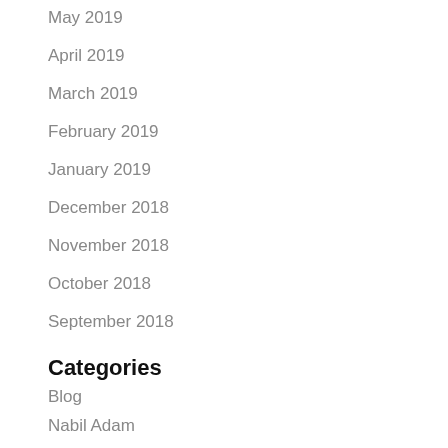May 2019
April 2019
March 2019
February 2019
January 2019
December 2018
November 2018
October 2018
September 2018
Categories
Blog
Nabil Adam
Meta